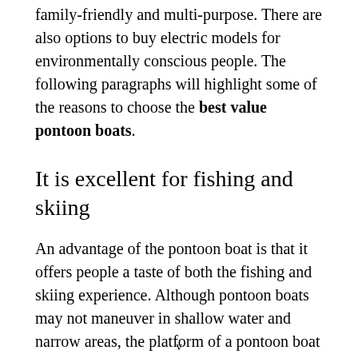family-friendly and multi-purpose. There are also options to buy electric models for environmentally conscious people. The following paragraphs will highlight some of the reasons to choose the best value pontoon boats.
It is excellent for fishing and skiing
An advantage of the pontoon boat is that it offers people a taste of both the fishing and skiing experience. Although pontoon boats may not maneuver in shallow water and narrow areas, the platform of a pontoon boat is excellent for both fishing and skiing.
People who want to use their pontoon boat for skiing
v